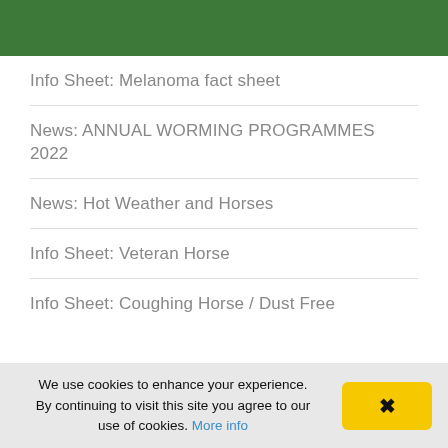Info Sheet: Melanoma fact sheet
News: ANNUAL WORMING PROGRAMMES 2022
News: Hot Weather and Horses
Info Sheet: Veteran Horse
Info Sheet: Coughing Horse / Dust Free
We use cookies to enhance your experience. By continuing to visit this site you agree to our use of cookies. More info